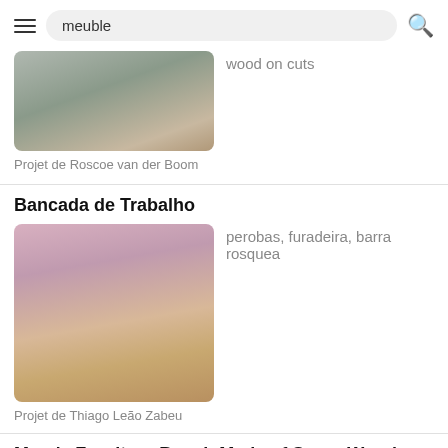meuble
[Figure (photo): Partial view of a table leg on a carpeted floor — wood on cuts search result thumbnail]
wood on cuts
Projet de Roscoe van der Boom
Bancada de Trabalho
[Figure (photo): Wooden workbench with two shelves in a pink insulation-lined garage workshop]
perobas, furadeira, barra rosquea
Projet de Thiago Leão Zabeu
Mom's Furniture Bench Made of Scrap Wood bench
[Figure (photo): Dark thumbnail of a scrap wood bench project]
reclaimed and pallet wood